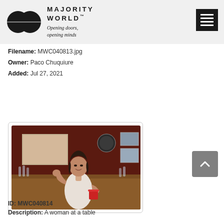MAJORITY WORLD™ Opening doors, opening minds
Filename: MWC040813.jpg
Owner: Paco Chuquiure
Added: Jul 27, 2021
[Figure (photo): A woman sits at a wooden table in a restaurant/café with dark red walls. She is smiling, resting her chin on one hand, and holding a red cup. Behind her are framed photographs on the wall and glassware on the table.]
ID: MWC040814
Description: A woman at a table